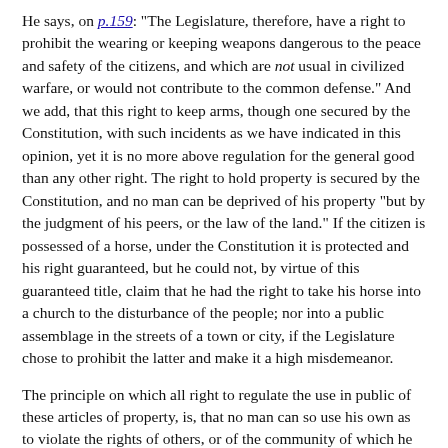He says, on p.159: "The Legislature, therefore, have a right to prohibit the wearing or keeping weapons dangerous to the peace and safety of the citizens, and which are not usual in civilized warfare, or would not contribute to the common defense." And we add, that this right to keep arms, though one secured by the Constitution, with such incidents as we have indicated in this opinion, yet it is no more above regulation for the general good than any other right. The right to hold property is secured by the Constitution, and no man can be deprived of his property "but by the judgment of his peers, or the law of the land." If the citizen is possessed of a horse, under the Constitution it is protected and his right guaranteed, but he could not, by virtue of this guaranteed title, claim that he had the right to take his horse into a church to the disturbance of the people; nor into a public assemblage in the streets of a town or city, if the Legislature chose to prohibit the latter and make it a high misdemeanor.
The principle on which all right to regulate the use in public of these articles of property, is, that no man can so use his own as to violate the rights of others, or of the community of which he is a member.
So we may say, with reference to such arms, as we have held, he may keep and use in the ordinary mode known to the country, no